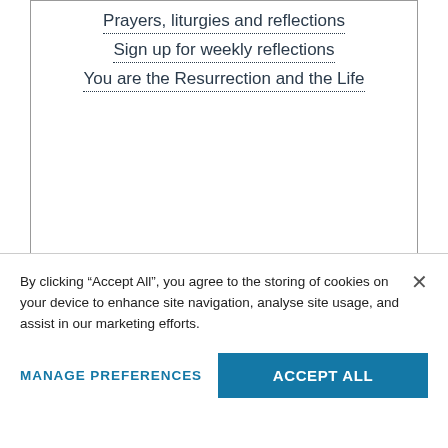Prayers, liturgies and reflections
Sign up for weekly reflections
You are the Resurrection and the Life
Survive, rebuild, heal
By clicking “Accept All”, you agree to the storing of cookies on your device to enhance site navigation, analyse site usage, and assist in our marketing efforts.
Manage Preferences
Accept All